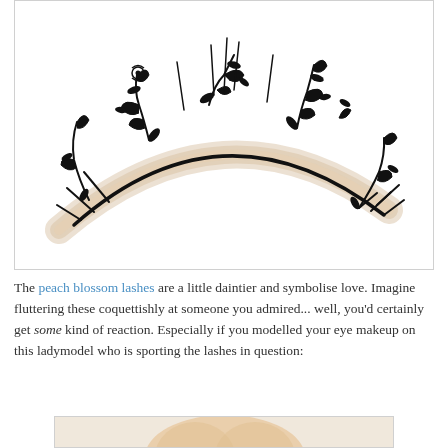[Figure (photo): Decorative false eyelashes with floral and vine motifs arranged in an arc/crescent shape against a white background. The lashes feature intricate black botanical designs with leaves, scrolls, and floral elements.]
The peach blossom lashes are a little daintier and symbolise love. Imagine fluttering these coquettishly at someone you admired... well, you'd certainly get some kind of reaction. Especially if you modelled your eye makeup on this ladymodel who is sporting the lashes in question:
[Figure (photo): Partial photo of a female model's face showing eye makeup with the decorative lashes, cropped at bottom of page.]